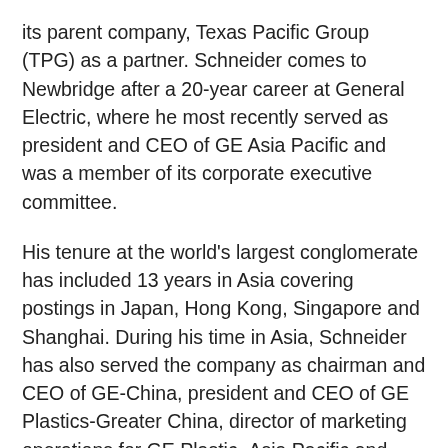its parent company, Texas Pacific Group (TPG) as a partner. Schneider comes to Newbridge after a 20-year career at General Electric, where he most recently served as president and CEO of GE Asia Pacific and was a member of its corporate executive committee.
His tenure at the world's largest conglomerate has included 13 years in Asia covering postings in Japan, Hong Kong, Singapore and Shanghai. During his time in Asia, Schneider has also served the company as chairman and CEO of GE-China, president and CEO of GE Plastics-Greater China, director of marketing operations for GE Plastic- Asia Pacific and general manager, marketing operations for GE Plastics Japan.
"Successful private equity investing depends much more on access to management talent than capital, particularly